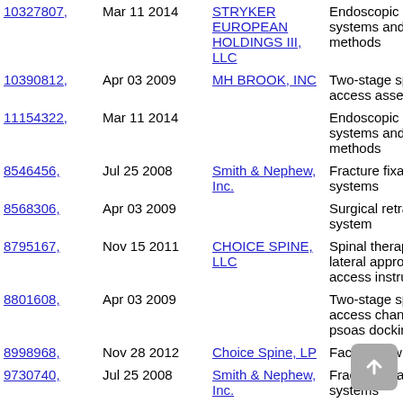| Patent | Date | Owner | Description |
| --- | --- | --- | --- |
| 10327807, | Mar 11 2014 | STRYKER EUROPEAN HOLDINGS III, LLC | Endoscopic surgical systems and methods |
| 10390812, | Apr 03 2009 | MH BROOK, INC | Two-stage spinal access assembly |
| 11154322, | Mar 11 2014 |  | Endoscopic surgical systems and methods |
| 8546456, | Jul 25 2008 | Smith & Nephew, Inc. | Fracture fixation systems |
| 8568306, | Apr 03 2009 |  | Surgical retractor system |
| 8795167, | Nov 15 2011 | CHOICE SPINE, LLC | Spinal therapy lateral approach access instruments |
| 8801608, | Apr 03 2009 |  | Two-stage spinal access channel with psoas docking |
| 8998968, | Nov 28 2012 | Choice Spine, LP | Facet screw system |
| 9730740, | Jul 25 2008 | Smith & Nephew, Inc. | Fracture fixation systems |